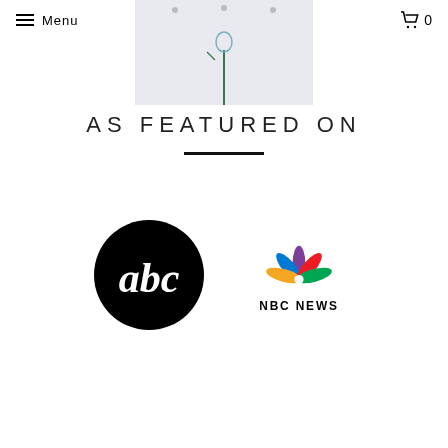Menu | TAP ART | 0
[Figure (photo): Partial view of an artwork featuring a drawn flower/stem on a light blue/white background]
AS FEATURED ON
[Figure (logo): ABC logo - black circle with lowercase 'abc' in white]
[Figure (logo): NBC News logo - colorful peacock feather logo above 'NBC NEWS' text]